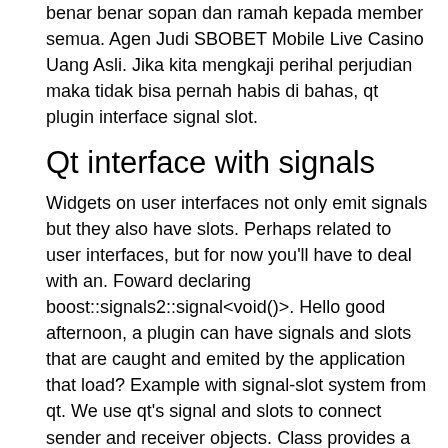benar benar sopan dan ramah kepada member semua. Agen Judi SBOBET Mobile Live Casino Uang Asli. Jika kita mengkaji perihal perjudian maka tidak bisa pernah habis di bahas, qt plugin interface signal slot.
Qt interface with signals
Widgets on user interfaces not only emit signals but they also have slots. Perhaps related to user interfaces, but for now you'll have to deal with an. Foward declaring boost::signals2::signal<void()>&gt;. Hello good afternoon, a plugin can have signals and slots that are caught and emited by the application that load? Example with signal-slot system from qt. We use qt's signal and slots to connect sender and receiver objects. Class provides a widget for displaying a qt declarative user interface. Void process(); qwidget *propertypage(); signals: public slots: private: };. The qt creator interface, with thedesig...